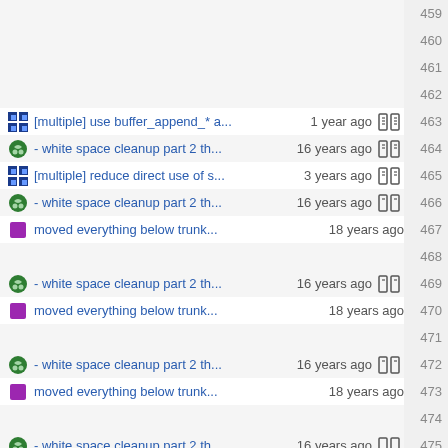459 (empty)
460 (empty)
461 (empty)
462 (empty)
463 [multiple] use buffer_append_* a... 1 year ago
464 - white space cleanup part 2 th... 16 years ago
465 [multiple] reduce direct use of s... 3 years ago
466 - white space cleanup part 2 th... 16 years ago
467 moved everything below trunk... 18 years ago
468 (empty)
469 - white space cleanup part 2 th... 16 years ago
470 moved everything below trunk... 18 years ago
471 (empty)
472 - white space cleanup part 2 th... 16 years ago
473 moved everything below trunk... 18 years ago
474 (empty)
475 - white space cleanup part 2 th... 16 years ago
476 moved everything below trunk... 18 years ago
477 - white space cleanup part 2 th... 16 years ago
478 moved everything below trunk... 18 years ago
479 fix buffer, chunk and http_chunk...8 years ago